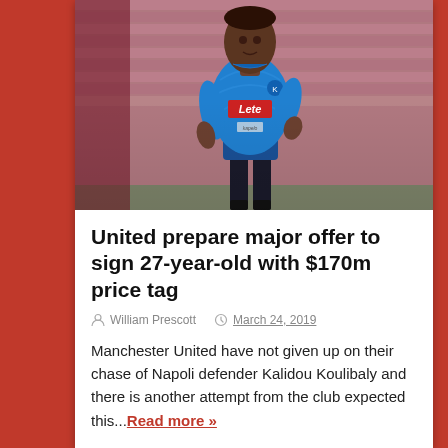[Figure (photo): Football player in blue Napoli kit with Lete sponsor, running on pitch with stadium seats visible in background]
United prepare major offer to sign 27-year-old with $170m price tag
William Prescott   March 24, 2019
Manchester United have not given up on their chase of Napoli defender Kalidou Koulibaly and there is another attempt from the club expected this... Read more »
« 1 2 3 4 5 › »